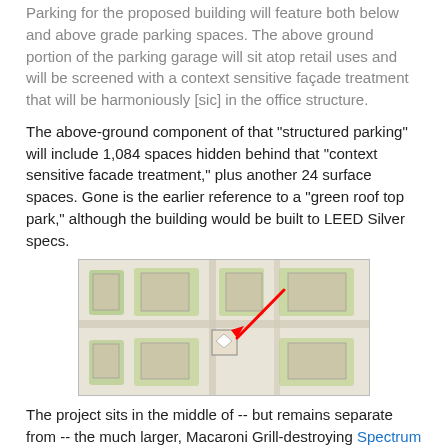Parking for the proposed building will feature both below and above grade parking spaces. The above ground portion of the parking garage will sit atop retail uses and will be screened with a context sensitive façade treatment that will be harmoniously [sic] in the office structure.
The above-ground component of that "structured parking" will include 1,084 spaces hidden behind that "context sensitive facade treatment," plus another 24 surface spaces. Gone is the earlier reference to a "green roof top park," although the building would be built to LEED Silver specs.
[Figure (map): Aerial site plan map showing a development area with multiple building footprints and green spaces. A red arrow points to a specific plot in the middle of the map, indicating the project location.]
The project sits in the middle of -- but remains separate from -- the much larger, Macaroni Grill-destroying Spectrum redevelopment project, which is itself making its way through the approval process. As we noted when this was initially